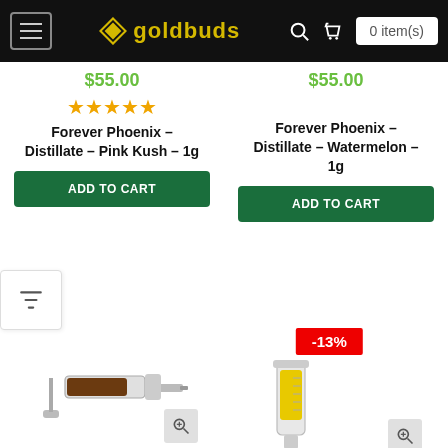goldbuds — 0 item(s)
$55.00
★★★★★
Forever Phoenix – Distillate – Pink Kush – 1g
ADD TO CART
$55.00
Forever Phoenix – Distillate – Watermelon – 1g
ADD TO CART
[Figure (photo): Distillate syringe with dark amber/brown oil, metallic body]
[Figure (photo): Distillate syringe with yellow oil, transparent plastic body, -13% discount badge]